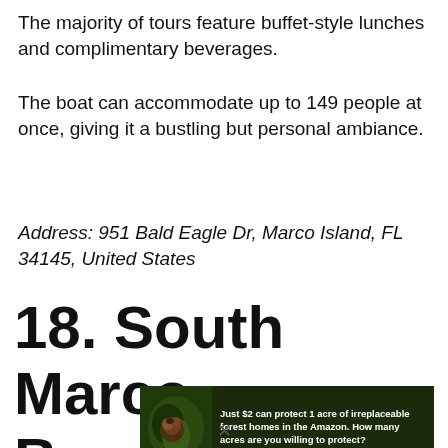The majority of tours feature buffet-style lunches and complimentary beverages.
The boat can accommodate up to 149 people at once, giving it a bustling but personal ambiance.
Address: 951 Bald Eagle Dr, Marco Island, FL 34145, United States
18. South Marco Beach
[Figure (other): Advertisement banner: forest/Amazon protection ad with orangutan image. Text reads: 'Just $2 can protect 1 acre of irreplaceable forest homes in the Amazon. How many acres are you willing to protect?' with a green 'PROTECT FORESTS NOW' button.]